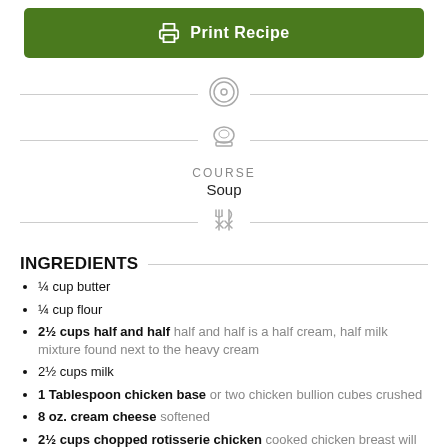Print Recipe
[Figure (illustration): Timer icon, chef hat icon, and cutlery icon with horizontal divider lines and COURSE / Soup label]
INGREDIENTS
¼ cup butter
¼ cup flour
2½ cups half and half  half and half is a half cream, half milk mixture found next to the heavy cream
2½ cups milk
1 Tablespoon chicken base  or two chicken bullion cubes crushed
8 oz. cream cheese  softened
2½ cups chopped rotisserie chicken  cooked chicken breast will